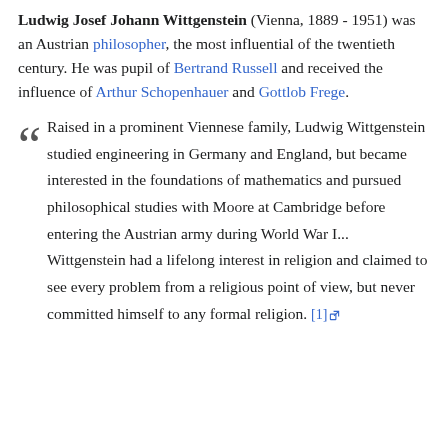Ludwig Josef Johann Wittgenstein (Vienna, 1889 - 1951) was an Austrian philosopher, the most influential of the twentieth century. He was pupil of Bertrand Russell and received the influence of Arthur Schopenhauer and Gottlob Frege.
Raised in a prominent Viennese family, Ludwig Wittgenstein studied engineering in Germany and England, but became interested in the foundations of mathematics and pursued philosophical studies with Moore at Cambridge before entering the Austrian army during World War I... Wittgenstein had a lifelong interest in religion and claimed to see every problem from a religious point of view, but never committed himself to any formal religion. [1]